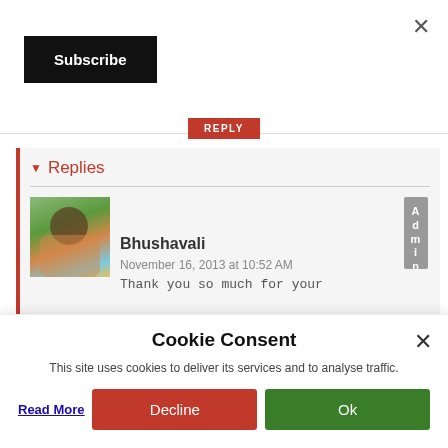[Figure (screenshot): Close (X) button in top right corner]
[Figure (screenshot): Black Subscribe button]
[Figure (screenshot): Red REPLY button]
Replies
[Figure (photo): Avatar photo of Bhushavali - person with flowers]
Bhushavali Admin
November 16, 2013 at 10:52 AM
Thank you so much for your
Cookie Consent
This site uses cookies to deliver its services and to analyse traffic.
Read More
Decline
Ok